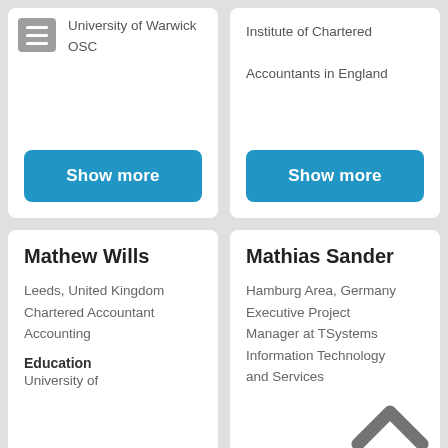University of Warwick OSC
Institute of Chartered Accountants in England
Show more
Show more
Mathew Wills
Leeds, United Kingdom
Chartered Accountant
Accounting
Education
University of
Mathias Sander
Hamburg Area, Germany
Executive Project Manager at TSystems
Information Technology and Services